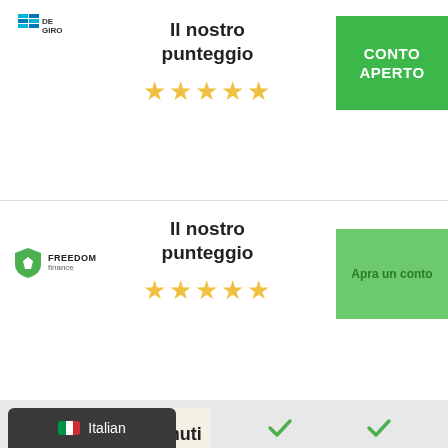[Figure (logo): DeGiro broker logo with blue horizontal lines]
Il nostro punteggio
★★★★★
CONTO APERTO
[Figure (logo): Freedom Finance logo with green shield and text]
Il nostro punteggio
★★★★★
Apra un conto
Tabella dei contenuti
Italian